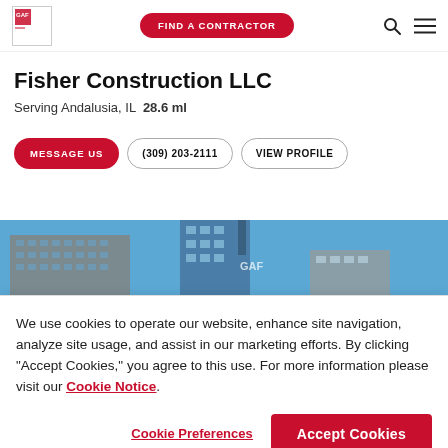GAF | FIND A CONTRACTOR
Fisher Construction LLC
Serving Andalusia, IL  28.6 ml
MESSAGE US | (309) 203-2111 | VIEW PROFILE
[Figure (photo): Skyline photograph showing tall buildings against a blue sky]
We use cookies to operate our website, enhance site navigation, analyze site usage, and assist in our marketing efforts. By clicking "Accept Cookies," you agree to this use. For more information please visit our Cookie Notice.
Cookie Preferences | Accept Cookies